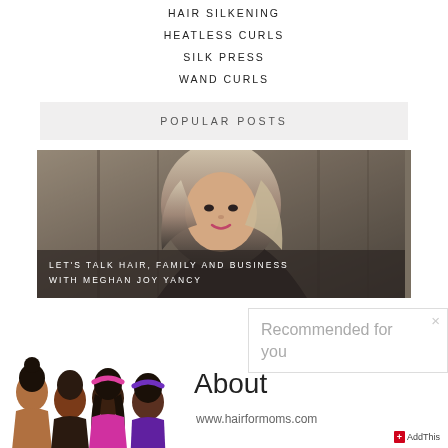HAIR SILKENING
HEATLESS CURLS
SILK PRESS
WAND CURLS
POPULAR POSTS
[Figure (photo): Woman with long wavy ombre hair smiling, with caption overlay: LET'S TALK HAIR, FAMILY AND BUSINESS WITH MEGHAN JOY YANCY]
LET'S TALK HAIR, FAMILY AND BUSINESS WITH MEGHAN JOY YANCY
Recommended for you
About
www.hairformoms.com
[Figure (illustration): Four diverse female avatar illustrations with different hairstyles]